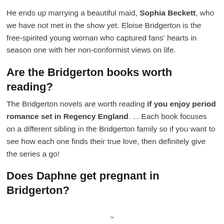He ends up marrying a beautiful maid, Sophia Beckett, who we have not met in the show yet. Eloise Bridgerton is the free-spirited young woman who captured fans' hearts in season one with her non-conformist views on life.
Are the Bridgerton books worth reading?
The Bridgerton novels are worth reading if you enjoy period romance set in Regency England. ... Each book focuses on a different sibling in the Bridgerton family so if you want to see how each one finds their true love, then definitely give the series a go!
Does Daphne get pregnant in Bridgerton?